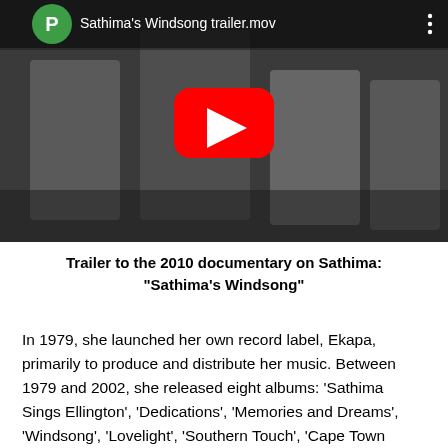[Figure (screenshot): YouTube video thumbnail showing a black-and-white photo of four people (three men and a woman) smiling outdoors. A green circle with white 'P' is in the top-left, the video title 'Sathima's Windsong trailer.mov' appears at the top, a red YouTube play button is centered, and a vertical three-dot menu icon is at the top-right.]
Trailer to the 2010 documentary on Sathima: "Sathima's Windsong"
In 1979, she launched her own record label, Ekapa, primarily to produce and distribute her music. Between 1979 and 2002, she released eight albums: 'Sathima Sings Ellington', 'Dedications', 'Memories and Dreams', 'Windsong', 'Lovelight', 'Southern Touch', 'Cape Town